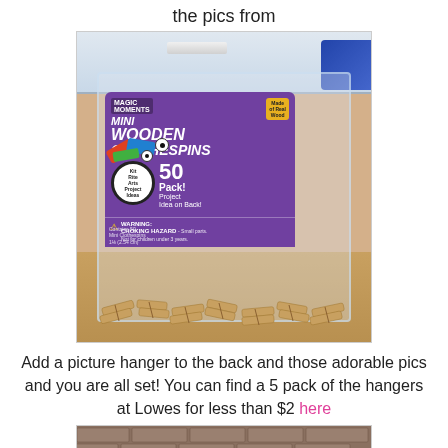the pics from
[Figure (photo): A clear plastic bag containing a package of Mini Wooden Clothespins (50 Pack) with a purple label. The package has a warning about choking hazard. The bag sits on a wooden floor surface with a white storage box visible in the background.]
Add a picture hanger to the back and those adorable pics and you are all set! You can find a 5 pack of the hangers at Lowes for less than $2 here
[Figure (photo): Bottom portion of a photo showing a brick surface.]